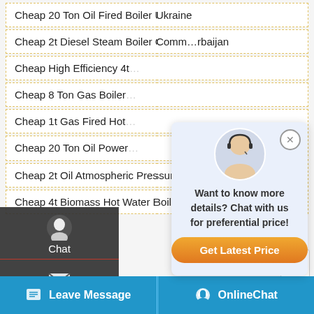Cheap 20 Ton Oil Fired Boiler Ukraine
Cheap 2t Diesel Steam Boiler Comm…rbaijan
Cheap High Efficiency 4t…
Cheap 8 Ton Gas Boiler…
Cheap 1t Gas Fired Hot…
Cheap 20 Ton Oil Power…
Cheap 2t Oil Atmospheric Pressure Hot Water Boiler
Cheap 4t Biomass Hot Water Boiler Georgia
[Figure (screenshot): Sidebar with Chat, Email, Contact icons on dark background]
[Figure (screenshot): Popup with customer service agent photo, stars, 'Want to know more details? Chat with us for preferential price!' text and 'Get Latest Price' orange button]
[Figure (screenshot): WhatsApp sticker save banner with purple/pink gradient background]
[Figure (screenshot): Footer bar with Leave Message and OnlineChat buttons in blue]